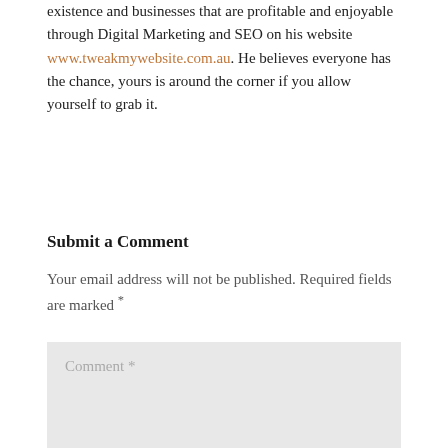He is inspiring others to achieve a happier existence and businesses that are profitable and enjoyable through Digital Marketing and SEO on his website www.tweakmywebsite.com.au. He believes everyone has the chance, yours is around the corner if you allow yourself to grab it.
Submit a Comment
Your email address will not be published. Required fields are marked *
Comment *